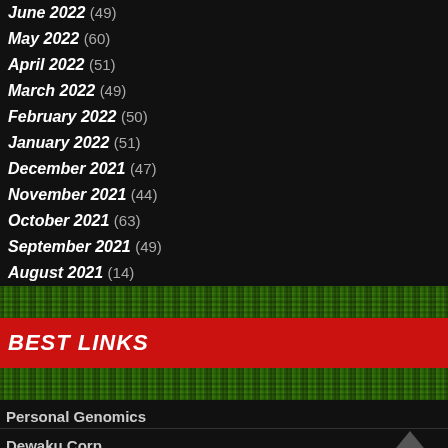June 2022 (49)
May 2022 (60)
April 2022 (51)
March 2022 (49)
February 2022 (50)
January 2022 (51)
December 2021 (47)
November 2021 (44)
October 2021 (63)
September 2021 (49)
August 2021 (14)
[Figure (photo): Green grass texture banner]
BEST LINKS
[Figure (photo): Green grass texture banner]
Personal Genomics
Dewaku Corp
Dresser Galero